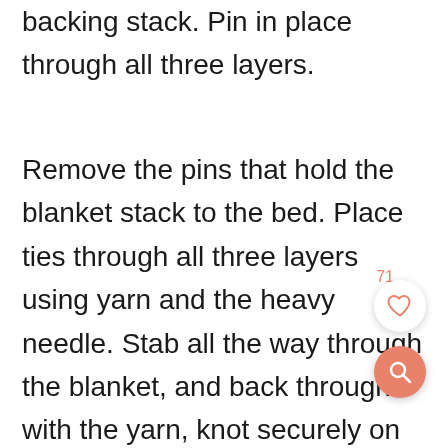backing stack. Pin in place through all three layers.
Remove the pins that hold the blanket stack to the bed. Place ties through all three layers using yarn and the heavy needle. Stab all the way through the blanket, and back through with the yarn, knot securely on the front side of the blanket. This helps hold everything in place before you do the actual quilting.